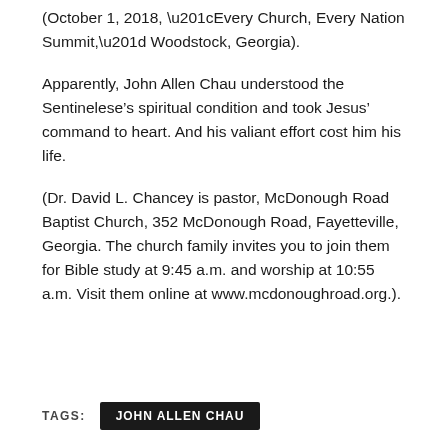(October 1, 2018, “Every Church, Every Nation Summit,” Woodstock, Georgia).
Apparently, John Allen Chau understood the Sentinelese’s spiritual condition and took Jesus’ command to heart. And his valiant effort cost him his life.
(Dr. David L. Chancey is pastor, McDonough Road Baptist Church, 352 McDonough Road, Fayetteville, Georgia. The church family invites you to join them for Bible study at 9:45 a.m. and worship at 10:55 a.m. Visit them online at www.mcdonoughroad.org.).
TAGS:
JOHN ALLEN CHAU